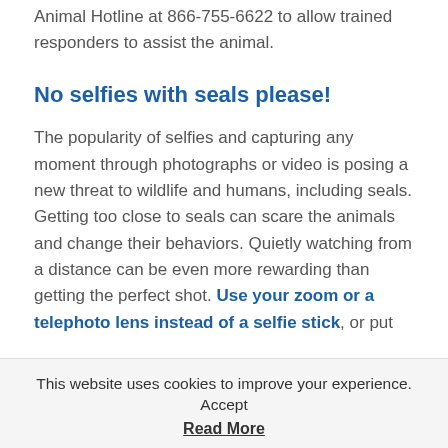Animal Hotline at 866-755-6622 to allow trained responders to assist the animal.
No selfies with seals please!
The popularity of selfies and capturing any moment through photographs or video is posing a new threat to wildlife and humans, including seals. Getting too close to seals can scare the animals and change their behaviors. Quietly watching from a distance can be even more rewarding than getting the perfect shot. Use your zoom or a telephoto lens instead of a selfie stick, or put
This website uses cookies to improve your experience. Accept
Read More